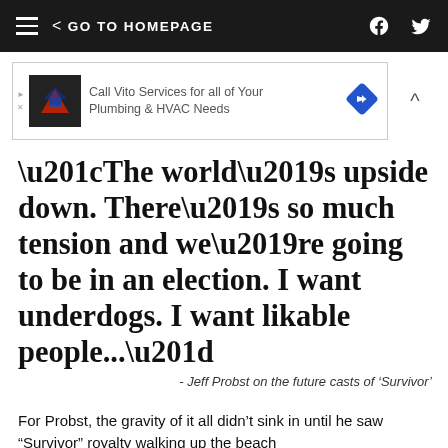GO TO HOMEPAGE
[Figure (other): Advertisement banner: Call Vito Services for all of Your Plumbing & HVAC Needs]
“The world’s upside down. There’s so much tension and we’re going to be in an election. I want underdogs. I want likable people...”
- Jeff Probst on the future casts of ‘Survivor’
For Probst, the gravity of it all didn’t sink in until he saw “Survivor” royalty walking up the beach